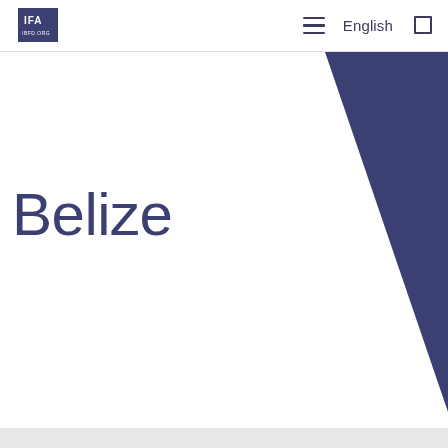IFA | English
[Figure (illustration): Dark navy/purple triangle shape in upper-right area of the page, pointing left toward the center-bottom, used as a decorative graphic element.]
Belize